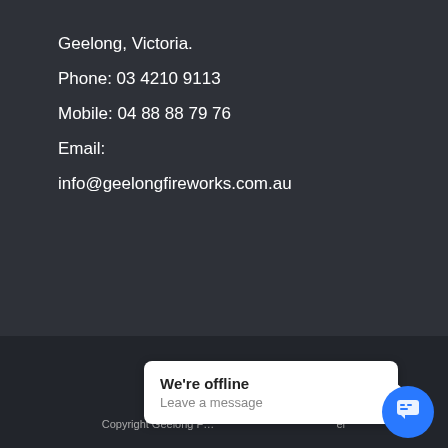Geelong, Victoria.
Phone: 03 4210 9113
Mobile: 04 88 88 79 76
Email:
info@geelongfireworks.com.au
Copyright Geelong F... er
We're offline
Leave a message